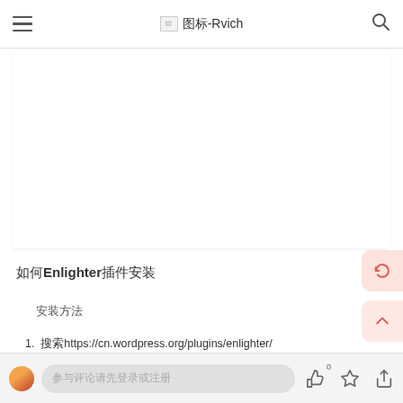图标-Rvich
[Figure (screenshot): White content area with large blank space (advertisement or image placeholder)]
如何Enlighter插件安装
安装方法
1. 搜索https://cn.wordpress.org/plugins/enlighter/
Enlighter已经成功安装了